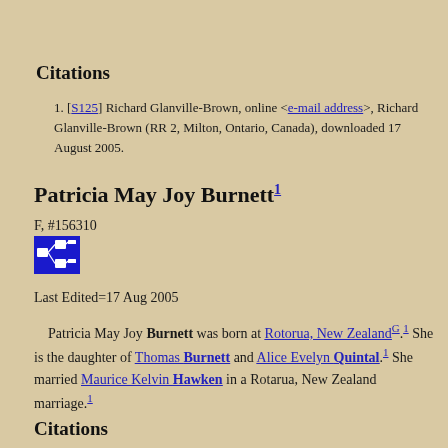Citations
[S125] Richard Glanville-Brown, online <e-mail address>, Richard Glanville-Brown (RR 2, Milton, Ontario, Canada), downloaded 17 August 2005.
Patricia May Joy Burnett
F, #156310
[Figure (other): Pedigree/family tree icon button (blue square with org-chart diagram in white)]
Last Edited=17 Aug 2005
Patricia May Joy Burnett was born at Rotorua, New Zealand. She is the daughter of Thomas Burnett and Alice Evelyn Quintal. She married Maurice Kelvin Hawken in a Rotarua, New Zealand marriage.
Citations